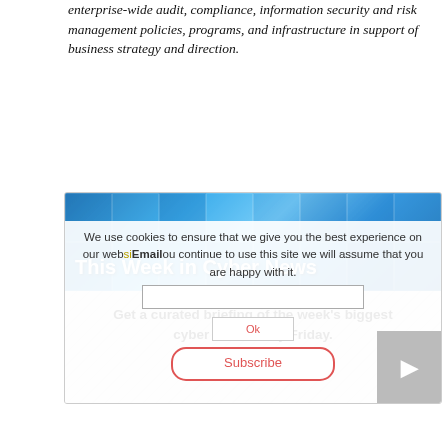enterprise-wide audit, compliance, information security and risk management policies, programs, and infrastructure in support of business strategy and direction.
[Figure (screenshot): A webpage screenshot showing a 'This Week in Cyber News' newsletter signup card with a diagonal-striped background, an email input field, Subscribe button, and a cookie consent overlay.]